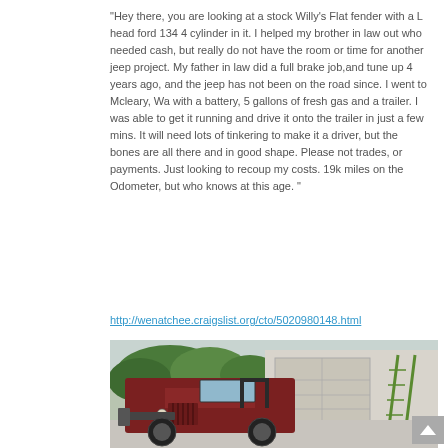“Hey there, you are looking at a stock Willy’s Flat fender with a L head ford 134 4 cylinder in it. I helped my brother in law out who needed cash, but really do not have the room or time for another jeep project. My father in law did a full brake job,and tune up 4 years ago, and the jeep has not been on the road since. I went to Mcleary, Wa with a battery, 5 gallons of fresh gas and a trailer. I was able to get it running and drive it onto the trailer in just a few mins. It will need lots of tinkering to make it a driver, but the bones are all there and in good shape. Please not trades, or payments. Just looking to recoup my costs. 19k miles on the Odometer, but who knows at this age. ”
http://wenatchee.craigslist.org/cto/5020980148.html
[Figure (photo): Vintage Willys Jeep flat fender in dark red/maroon color parked in a driveway in front of a garage. There is a green ladder leaning against the garage, and green bushes/trees in the background.]